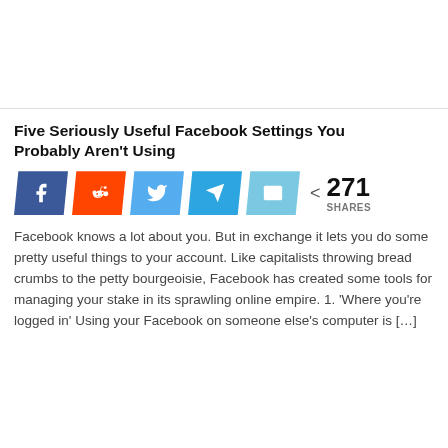Five Seriously Useful Facebook Settings You Probably Aren't Using
[Figure (infographic): Social share buttons: Facebook (blue), Reddit (orange-red), Twitter (blue), Telegram (blue), Email (light blue), plus share count of 271 SHARES]
Facebook knows a lot about you. But in exchange it lets you do some pretty useful things to your account. Like capitalists throwing bread crumbs to the petty bourgeoisie, Facebook has created some tools for managing your stake in its sprawling online empire. 1. 'Where you're logged in' Using your Facebook on someone else's computer is […]